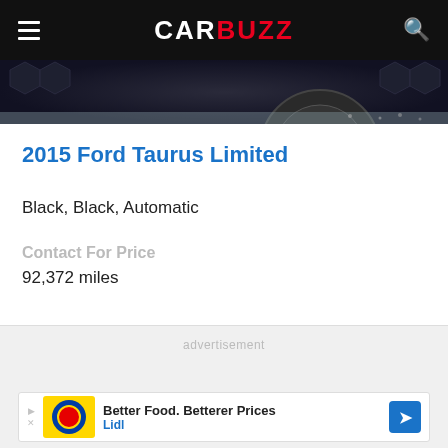CARBUZZ
[Figure (photo): Partial view of a dark-colored Ford Taurus, showing wheel and road area]
2015 Ford Taurus Limited
Black, Black, Automatic
Contact For Price
92,372 miles
advertisement
[Figure (other): Lidl advertisement banner: Better Food. Betterer Prices - Lidl]